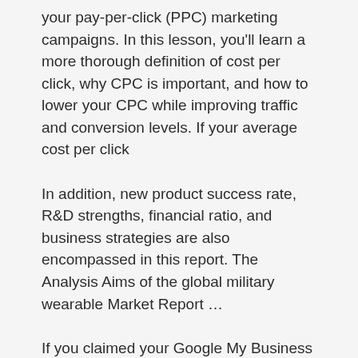your pay-per-click (PPC) marketing campaigns. In this lesson, you'll learn a more thorough definition of cost per click, why CPC is important, and how to lower your CPC while improving traffic and conversion levels. If your average cost per click
In addition, new product success rate, R&D strengths, financial ratio, and business strategies are also encompassed in this report. The Analysis Aims of the global military wearable Market Report …
If you claimed your Google My Business listing, people can leave reviews on Google … In this way, it's similar to email marketing, but open rates are significantly higher. You can text people about …